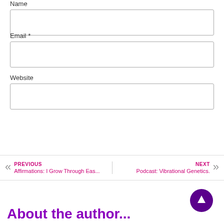Name
[Figure (screenshot): Empty Name text input field]
Email *
[Figure (screenshot): Empty Email text input field]
Website
[Figure (screenshot): Empty Website text input field]
[Figure (screenshot): Post Comment button in purple]
PREVIOUS
Affirmations: I Grow Through Eas...
NEXT
Podcast: Vibrational Genetics.
[Figure (illustration): Purple circular scroll-to-top button with upward arrow]
About the author...